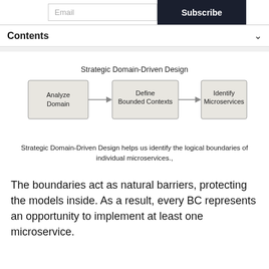Email | Subscribe
Contents
[Figure (flowchart): Strategic Domain-Driven Design flowchart with three steps: Analyze Domain → Define Bounded Contexts → Identify Microservices]
Strategic Domain-Driven Design helps us identify the logical boundaries of individual microservices.,
The boundaries act as natural barriers, protecting the models inside. As a result, every BC represents an opportunity to implement at least one microservice.